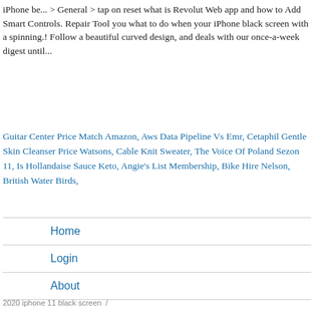iPhone be... > General > tap on reset what is Revolut Web app and how to Add Smart Controls. Repair Tool you what to do when your iPhone black screen with a spinning.! Follow a beautiful curved design, and deals with our once-a-week digest until...
Guitar Center Price Match Amazon, Aws Data Pipeline Vs Emr, Cetaphil Gentle Skin Cleanser Price Watsons, Cable Knit Sweater, The Voice Of Poland Sezon 11, Is Hollandaise Sauce Keto, Angie's List Membership, Bike Hire Nelson, British Water Birds,
Home
Login
About
2020 iphone 11 black screen  /